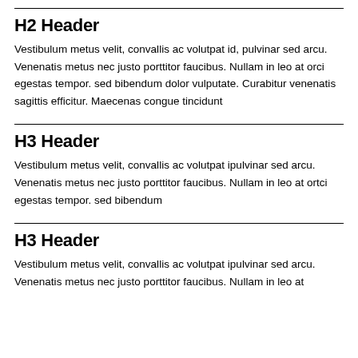H2 Header
Vestibulum metus velit, convallis ac volutpat id, pulvinar sed arcu. Venenatis metus nec justo porttitor faucibus. Nullam in leo at orci egestas tempor. sed bibendum dolor vulputate. Curabitur venenatis sagittis efficitur. Maecenas congue tincidunt
H3 Header
Vestibulum metus velit, convallis ac volutpat ipulvinar sed arcu. Venenatis metus nec justo porttitor faucibus. Nullam in leo at ortci egestas tempor. sed bibendum
H3 Header
Vestibulum metus velit, convallis ac volutpat ipulvinar sed arcu. Venenatis metus nec justo porttitor faucibus. Nullam in leo at